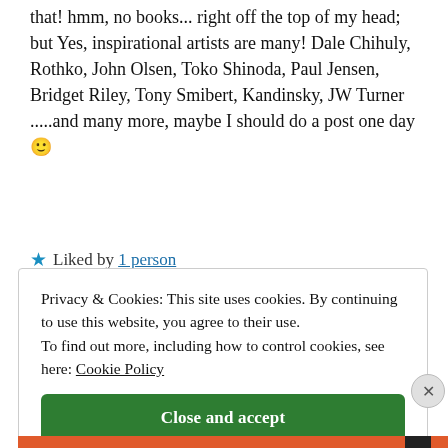that! hmm, no books... right off the top of my head; but Yes, inspirational artists are many! Dale Chihuly, Rothko, John Olsen, Toko Shinoda, Paul Jensen, Bridget Riley, Tony Smibert, Kandinsky, JW Turner .....and many more, maybe I should do a post one day 🙂
★ Liked by 1 person
Privacy & Cookies: This site uses cookies. By continuing to use this website, you agree to their use. To find out more, including how to control cookies, see here: Cookie Policy
Close and accept